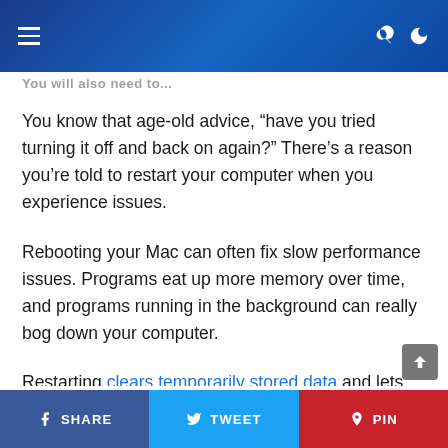[Navigation bar with menu icon, search, and dark mode toggle]
You know that age-old advice, “have you tried turning it off and back on again?” There’s a reason you’re told to restart your computer when you experience issues.
Rebooting your Mac can often fix slow performance issues. Programs eat up more memory over time, and programs running in the background can really bog down your computer.
Restarting clears temporarily stored data and lets you start fresh. If you leave your Mac on, or
SHARE   TWEET   PIN